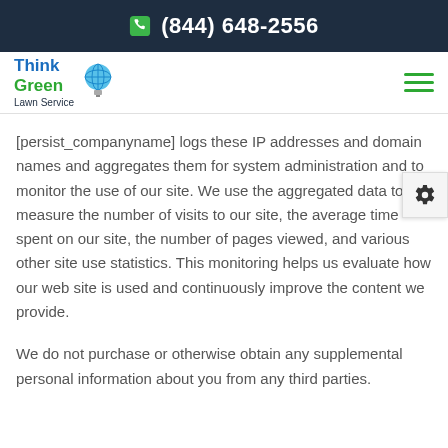(844) 648-2556
[Figure (logo): Think Green Lawn Service logo with globe/lightbulb icon]
[persist_companyname] logs these IP addresses and domain names and aggregates them for system administration and to monitor the use of our site. We use the aggregated data to measure the number of visits to our site, the average time spent on our site, the number of pages viewed, and various other site use statistics. This monitoring helps us evaluate how our web site is used and continuously improve the content we provide.
We do not purchase or otherwise obtain any supplemental personal information about you from any third parties.